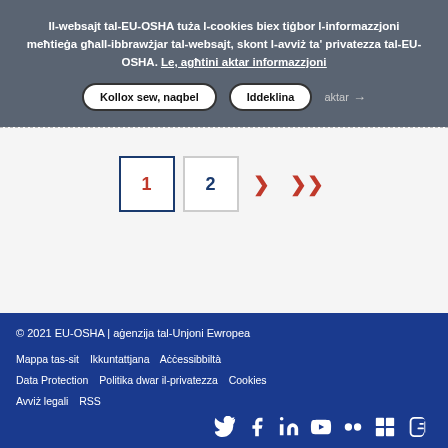Il-websajt tal-EU-OSHA tuża l-cookies biex tiġbor l-informazzjoni meħtieġa għall-ibbrawżjar tal-websajt, skont l-avviż ta' privatezza tal-EU-OSHA. Le, agħtini aktar informazzjoni
Kollox sew, naqbel   Iddeklina   aktar →
[Figure (other): Pagination navigation with page 1 (active, dark blue border, red number), page 2 (grey border, blue number), single right chevron (red), double right chevron (red)]
© 2021 EU-OSHA | aġenzija tal-Unjoni Ewropea
Mappa tas-sit   Ikkuntattjana   Aċċessibbiltà   Data Protection   Politika dwar il-privatezza   Cookies   Avviż legali   RSS